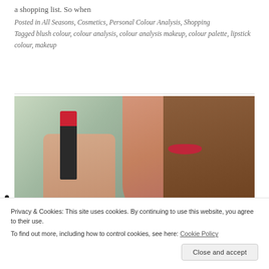a shopping list. So when
Posted in All Seasons, Cosmetics, Personal Colour Analysis, Shopping
Tagged blush colour, colour analysis, colour analysis makeup, colour palette, lipstick colour, makeup
[Figure (photo): A woman with red lipstick holding a red lipstick tube close to her face, with long brown hair, blurred background]
Privacy & Cookies: This site uses cookies. By continuing to use this website, you agree to their use.
To find out more, including how to control cookies, see here: Cookie Policy
Close and accept